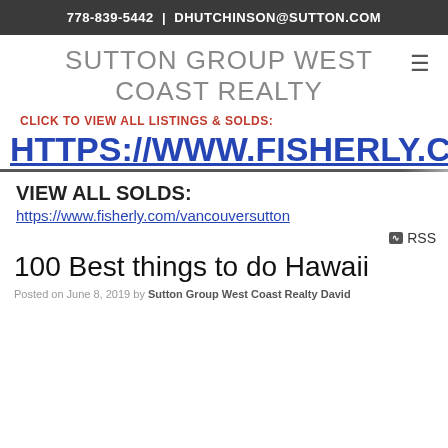778-839-5442 | DHUTCHINSON@SUTTON.COM
SUTTON GROUP WEST COAST REALTY
CLICK TO VIEW ALL LISTINGS & SOLDS:
HTTPS://WWW.FISHERLY.COM/
VIEW ALL SOLDS:
https://www.fisherly.com/vancouversutton
RSS
100 Best things to do Hawaii
Posted on June 8, 2019 by Sutton Group West Coast Realty David